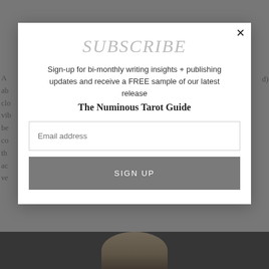SUBSCRIBE
Sign-up for bi-monthly writing insights + publishing updates and receive a FREE sample of our latest release
The Numinous Tarot Guide
Email address
SIGN UP